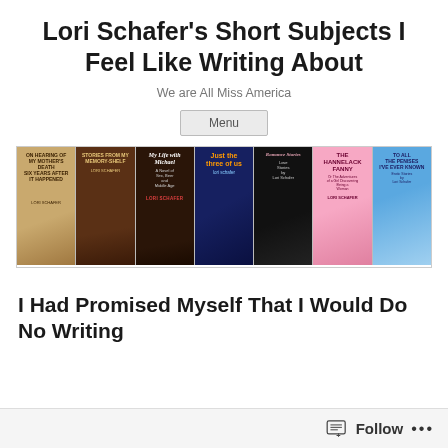Lori Schafer's Short Subjects I Feel Like Writing About
We are All Miss America
Menu
[Figure (illustration): A horizontal strip of 7 book covers by Lori Schafer, including: 'On Hearing of My Mother's Death Six Years After It Happened', 'Stories from My Memory-Shelf', 'My Life with Michael', 'Just the Three of Us', 'Romance Stories Love Stories by Lori Schafer', 'The Hannelack Fanny', 'To All the Penises I've Ever Known']
I Had Promised Myself That I Would Do No Writing
Follow ...